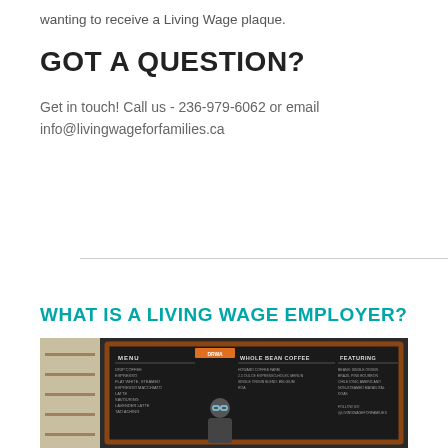wanting to receive a Living Wage plaque.
GOT A QUESTION?
Get in touch! Call us - 236-979-6062 or email info@livingwageforfamilies.ca
WHAT IS A LIVING WAGE EMPLOYER?
[Figure (photo): Photo of a coffee shop interior with a chalkboard menu showing 'MENU', 'WHOLE BEAN COFFEE', and 'FEATURING' sections, with a person visible in the foreground.]